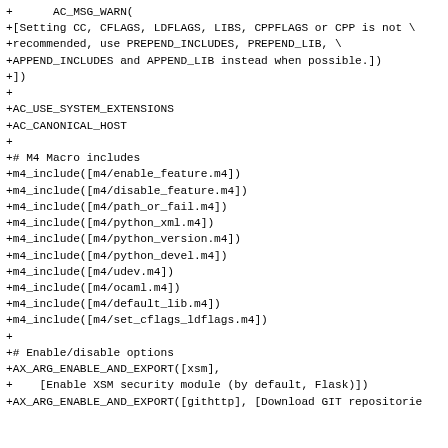+      AC_MSG_WARN(
+[Setting CC, CFLAGS, LDFLAGS, LIBS, CPPFLAGS or CPP is not \
+recommended, use PREPEND_INCLUDES, PREPEND_LIB, \
+APPEND_INCLUDES and APPEND_LIB instead when possible.])
+])
+
+AC_USE_SYSTEM_EXTENSIONS
+AC_CANONICAL_HOST
+
+# M4 Macro includes
+m4_include([m4/enable_feature.m4])
+m4_include([m4/disable_feature.m4])
+m4_include([m4/path_or_fail.m4])
+m4_include([m4/python_xml.m4])
+m4_include([m4/python_version.m4])
+m4_include([m4/python_devel.m4])
+m4_include([m4/udev.m4])
+m4_include([m4/ocaml.m4])
+m4_include([m4/default_lib.m4])
+m4_include([m4/set_cflags_ldflags.m4])
+
+# Enable/disable options
+AX_ARG_ENABLE_AND_EXPORT([xsm],
+    [Enable XSM security module (by default, Flask)])
+AX_ARG_ENABLE_AND_EXPORT([githttp], [Download GIT repositorie